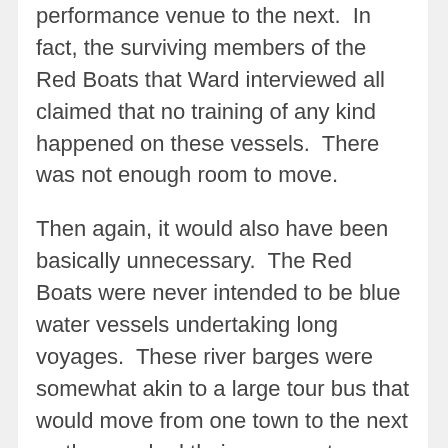performance venue to the next.  In fact, the surviving members of the Red Boats that Ward interviewed all claimed that no training of any kind happened on these vessels.  There was not enough room to move.
Then again, it would also have been basically unnecessary.  The Red Boats were never intended to be blue water vessels undertaking long voyages.  These river barges were somewhat akin to a large tour bus that would move from one town to the next as they worked their way up-stream during the performance seasons.  Voyages might take a day or two, and then they would dock for three days or more.  Any actual training or practice happened on dry land.
In my opinion deck mounted dummies seem unlikely.  They would have been in the way of the